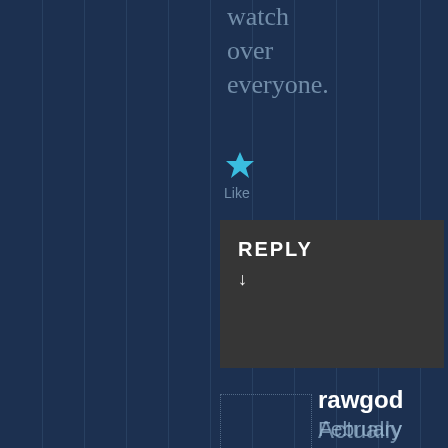watch over everyone.
[Figure (other): Cyan star icon for Like button]
Like
REPLY ↓
[Figure (other): Dotted rectangle avatar placeholder]
rawgod
February 5, 2019 · 10:27 pm
Actually